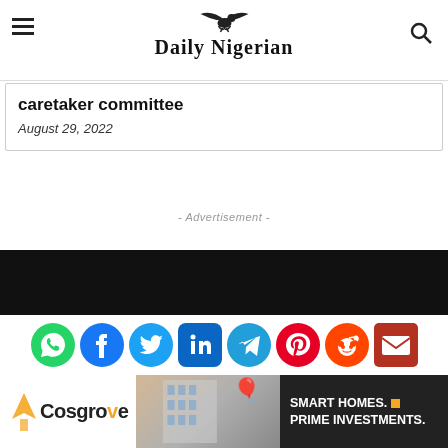Daily Nigerian
caretaker committee
August 29, 2022
- Advertisement -
[Figure (other): Black banner bar]
[Figure (other): Social media share icons: WhatsApp, Facebook, Twitter, LinkedIn, Telegram, Pinterest, Reddit, Email]
[Figure (other): Cosgrove Real Estate advertisement: Smart Homes. Prime Investments.]